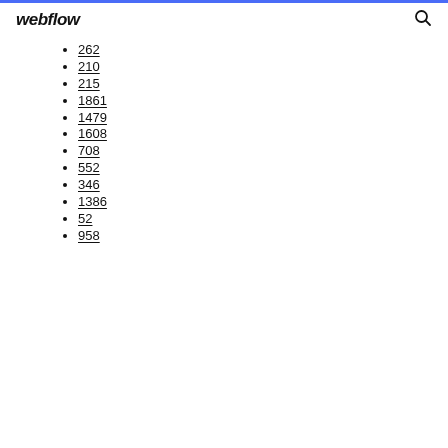webflow
262
210
215
1861
1479
1608
708
552
346
1386
52
958